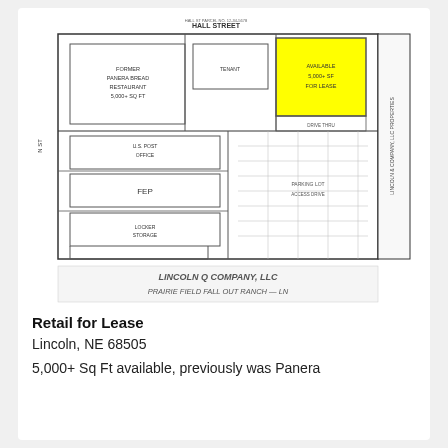[Figure (engineering-diagram): Floor plan / site plan schematic of a retail strip mall showing multiple tenant spaces. A yellow highlighted area in the upper right indicates available space. The plan shows parking areas, interior room divisions, and labeled tenant spaces. At the bottom of the plan reads 'LINCOLN Q COMPANY, LLC' and 'PRAIRIE FIELD FALL OUT RANCH - LN'. The top of the plan shows 'HALL STREET'. A vertical label on the right side reads text about the property.]
Retail for Lease
Lincoln, NE 68505
5,000+ Sq Ft available, previously was Panera